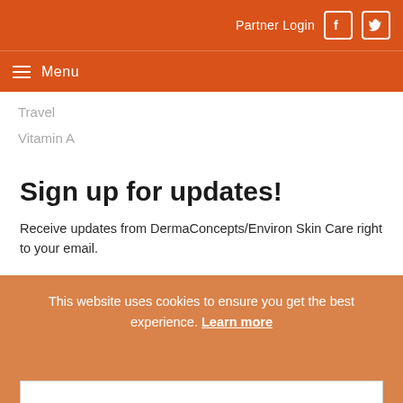Partner Login
Menu
Travel
Vitamin A
Sign up for updates!
Receive updates from DermaConcepts/Environ Skin Care right to your email.
* Email
This website uses cookies to ensure you get the best experience. Learn more
Ok
By submitting this form, you are consenting to receive marketing ema... from: DermaConcepts, 168 Industrial Drive, Building 1, Mashpee, MA, 02649, US, http://www.dermaconcepts.com. You can revoke your